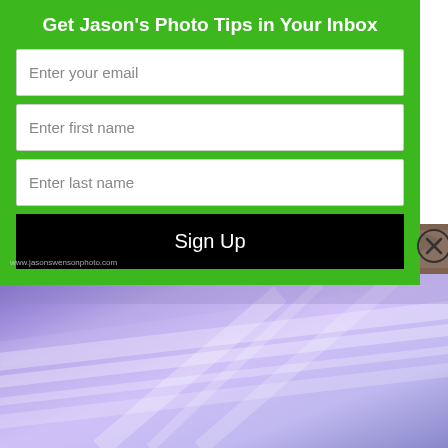Get Jason's Photo Tips in Your Inbox
[Figure (screenshot): Email signup form with green background containing three input fields (Enter your email, Enter first name, Enter last name) and a black Sign Up button, with a close (X) button on the right side]
[Figure (photo): Rocky cliff texture strip photo, brownish tones]
[Figure (photo): Long exposure sky photo showing purple and blue tones with streaking clouds]